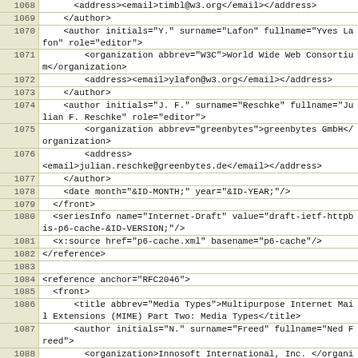| line | code |
| --- | --- |
| 1068 |       <address><email>timbl@w3.org</email></address> |
| 1069 |     </author> |
| 1070 |     <author initials="Y." surname="Lafon" fullname="Yves
Lafon" role="editor"> |
| 1071 |         <organization abbrev="W3C">World Wide Web
Consortium</organization> |
| 1072 |         <address><email>ylafon@w3.org</email></address> |
| 1073 |     </author> |
| 1074 |     <author initials="J. F." surname="Reschke"
fullname="Julian F. Reschke" role="editor"> |
| 1075 |         <organization abbrev="greenbytes">greenbytes
GmbH</organization> |
| 1076 |         <address>
<email>julian.reschke@greenbytes.de</email></address> |
| 1077 |     </author> |
| 1078 |     <date month="&ID-MONTH;" year="&ID-YEAR;"/> |
| 1079 |   </front> |
| 1080 |   <seriesInfo name="Internet-Draft" value="draft-ietf-
httpbis-p6-cache-&ID-VERSION;"/> |
| 1081 |   <x:source href="p6-cache.xml" basename="p6-cache"/> |
| 1082 | </reference> |
| 1083 |  |
| 1084 | <reference anchor="RFC2046"> |
| 1085 |   <front> |
| 1086 |       <title abbrev="Media Types">Multipurpose Internet
Mail Extensions (MIME) Part Two: Media Types</title> |
| 1087 |       <author initials="N." surname="Freed" fullname="Ned
Freed"> |
| 1088 |         <organization>Innosoft International, Inc.
</organization> |
| 1089 |         <address><email>ned@innosoft.com</email></address> |
| 1090 |     </author> |
| 1091 |     <author initials="N." surname="Borenstein"
fullname="Nathaniel S. Borenstein"> |